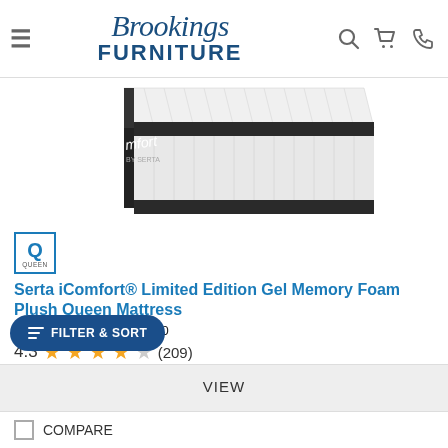Brookings Furniture
[Figure (photo): Corner view of a Serta iComfort mattress with white quilted top and dark charcoal border, showing the iComfort by Serta branding on the side]
[Figure (other): Queen size badge — blue bordered square with large Q and word QUEEN below]
Serta iComfort® Limited Edition Gel Memory Foam Plush Queen Mattress
Model #: 500802298-1050
4.3 ★★★★☆ (209)
Request a Quote
FILTER & SORT
VIEW
COMPARE